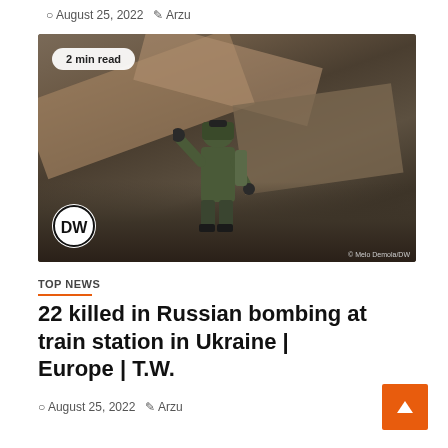August 25, 2022   Arzu
[Figure (photo): Ukrainian soldier in military gear and helmet standing amid rubble and destroyed building debris, with DW logo watermark in bottom left and '2 min read' badge in top left corner.]
TOP NEWS
22 killed in Russian bombing at train station in Ukraine | Europe | T.W.
August 25, 2022   Arzu